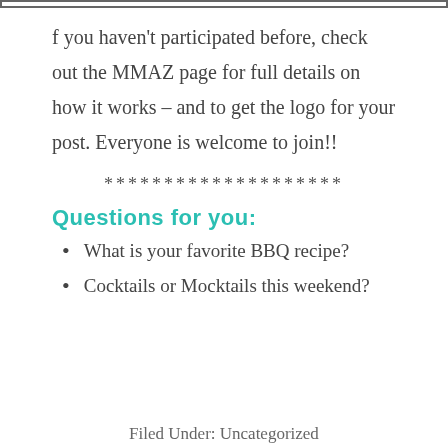[Figure (other): Top border/frame element from previous content]
f you haven't participated before, check out the MMAZ page for full details on how it works – and to get the logo for your post. Everyone is welcome to join!!
********************
Questions for you:
What is your favorite BBQ recipe?
Cocktails or Mocktails this weekend?
Filed Under: Uncategorized